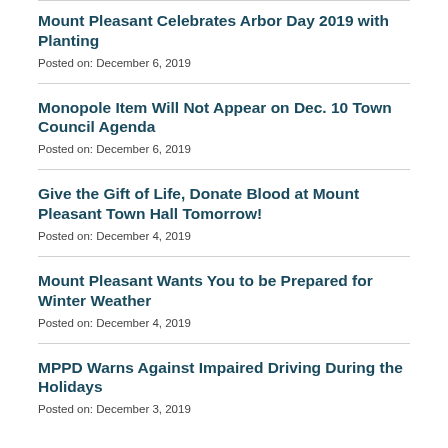Mount Pleasant Celebrates Arbor Day 2019 with Planting
Posted on: December 6, 2019
Monopole Item Will Not Appear on Dec. 10 Town Council Agenda
Posted on: December 6, 2019
Give the Gift of Life, Donate Blood at Mount Pleasant Town Hall Tomorrow!
Posted on: December 4, 2019
Mount Pleasant Wants You to be Prepared for Winter Weather
Posted on: December 4, 2019
MPPD Warns Against Impaired Driving During the Holidays
Posted on: December 3, 2019